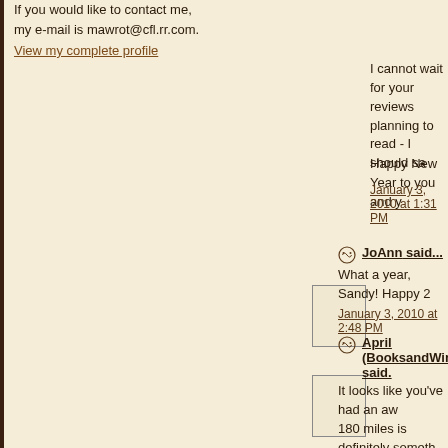If you would like to contact me, my e-mail is mawrot@cfl.rr.com.
View my complete profile
I cannot wait for your reviews planning to read - I should sa
Happy New Year to you and y
January 3, 2010 at 1:31 PM
JoAnn said...
What a year, Sandy! Happy 2
January 3, 2010 at 2:48 PM
April (BooksandWine) said...
It looks like you've had an aw 180 miles is definitely someth
Also, I do hope you have ano would love to participate agai
January 3, 2010 at 3:44 PM
Literary Feline said...
Happy new Year to you too, S wonderful job with it.